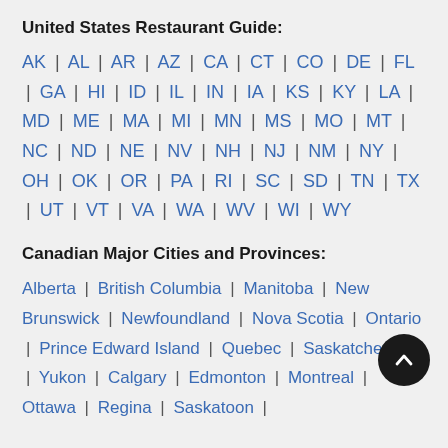United States Restaurant Guide:
AK | AL | AR | AZ | CA | CT | CO | DE | FL | GA | HI | ID | IL | IN | IA | KS | KY | LA | MD | ME | MA | MI | MN | MS | MO | MT | NC | ND | NE | NV | NH | NJ | NM | NY | OH | OK | OR | PA | RI | SC | SD | TN | TX | UT | VT | VA | WA | WV | WI | WY
Canadian Major Cities and Provinces:
Alberta | British Columbia | Manitoba | New Brunswick | Newfoundland | Nova Scotia | Ontario | Prince Edward Island | Quebec | Saskatchewan | Yukon | Calgary | Edmonton | Montreal | Ottawa | Regina | Saskatoon |